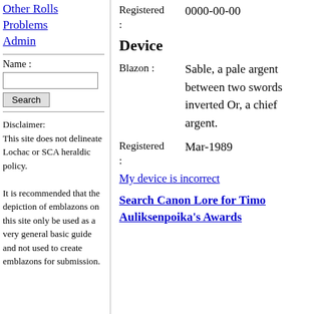Other Rolls
Problems
Admin
Name :
Search
Disclaimer:
This site does not delineate Lochac or SCA heraldic policy. It is recommended that the depiction of emblazons on this site only be used as a very general basic guide and not used to create emblazons for submission.
Registered : 0000-00-00
Device
Blazon : Sable, a pale argent between two swords inverted Or, a chief argent.
Registered : Mar-1989
My device is incorrect
Search Canon Lore for Timo Auliksenpoika's Awards